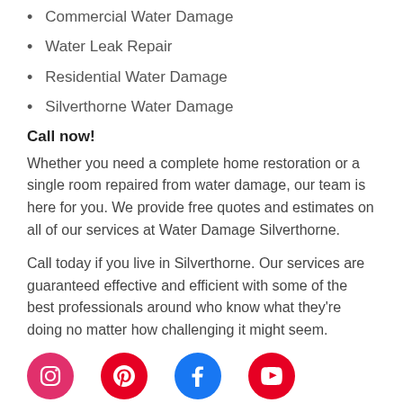Commercial Water Damage
Water Leak Repair
Residential Water Damage
Silverthorne Water Damage
Call now!
Whether you need a complete home restoration or a single room repaired from water damage, our team is here for you. We provide free quotes and estimates on all of our services at Water Damage Silverthorne.
Call today if you live in Silverthorne. Our services are guaranteed effective and efficient with some of the best professionals around who know what they're doing no matter how challenging it might seem.
[Figure (infographic): Row of four social media icons: Instagram (pink/red circle), Pinterest (red circle), Facebook (blue circle), YouTube (red circle)]